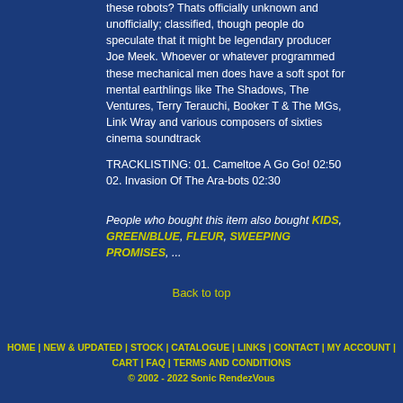these robots? Thats officially unknown and unofficially; classified, though people do speculate that it might be legendary producer Joe Meek. Whoever or whatever programmed these mechanical men does have a soft spot for mental earthlings like The Shadows, The Ventures, Terry Terauchi, Booker T & The MGs, Link Wray and various composers of sixties cinema soundtrack
TRACKLISTING: 01. Cameltoe A Go Go! 02:50 02. Invasion Of The Ara-bots 02:30
People who bought this item also bought KIDS, GREEN/BLUE, FLEUR, SWEEPING PROMISES, ...
Back to top
HOME | NEW & UPDATED | STOCK | CATALOGUE | LINKS | CONTACT | MY ACCOUNT | CART | FAQ | TERMS AND CONDITIONS © 2002 - 2022 Sonic RendezVous